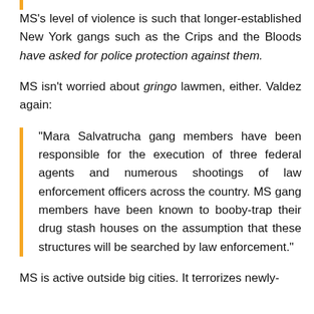MS's level of violence is such that longer-established New York gangs such as the Crips and the Bloods have asked for police protection against them.
MS isn't worried about gringo lawmen, either. Valdez again:
"Mara Salvatrucha gang members have been responsible for the execution of three federal agents and numerous shootings of law enforcement officers across the country. MS gang members have been known to booby-trap their drug stash houses on the assumption that these structures will be searched by law enforcement."
MS is active outside big cities. It terrorizes newly-